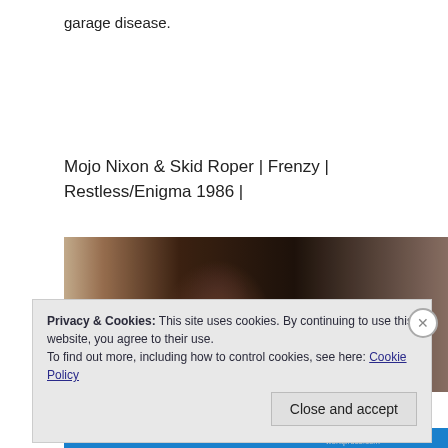garage disease.
Mojo Nixon & Skid Roper | Frenzy | Restless/Enigma 1986 |
[Figure (photo): Blurry photograph of a person, partially visible, with warm brown and dark tones, appearing to be an album cover or related image]
Privacy & Cookies: This site uses cookies. By continuing to use this website, you agree to their use.
To find out more, including how to control cookies, see here: Cookie Policy
Close and accept